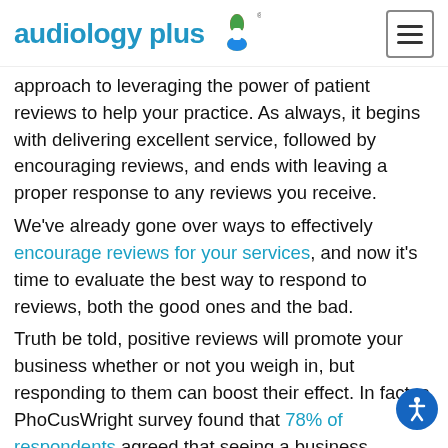audiology plus
approach to leveraging the power of patient reviews to help your practice. As always, it begins with delivering excellent service, followed by encouraging reviews, and ends with leaving a proper response to any reviews you receive.
We've already gone over ways to effectively encourage reviews for your services, and now it's time to evaluate the best way to respond to reviews, both the good ones and the bad.
Truth be told, positive reviews will promote your business whether or not you weigh in, but responding to them can boost their effect. In fact, a PhoCusWright survey found that 78% of respondents agreed that seeing a business respond to their revio... hade them feel cared